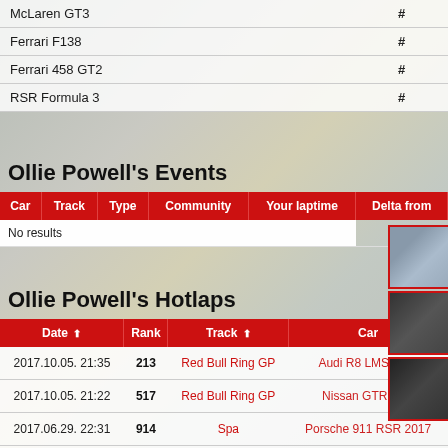| Car | # |
| --- | --- |
| McLaren GT3 | # |
| Ferrari F138 | # |
| Ferrari 458 GT2 | # |
| RSR Formula 3 | # |
Ollie Powell's Events
| Car | Track | Type | Community | Your laptime | Delta from |
| --- | --- | --- | --- | --- | --- |
| No results |  |  |  |  |  |
Ollie Powell's Hotlaps
| Date | Rank | Track | Car |
| --- | --- | --- | --- |
| 2017.10.05. 21:35 | 213 | Red Bull Ring GP | Audi R8 LMS Ultra |
| 2017.10.05. 21:22 | 517 | Red Bull Ring GP | Nissan GTR GT3 |
| 2017.06.29. 22:31 | 914 | Spa | Porsche 911 RSR 2017 |
| 2017.06.23. 19:49 | 1095 | Spa | Chevrolet Corvette C7R |